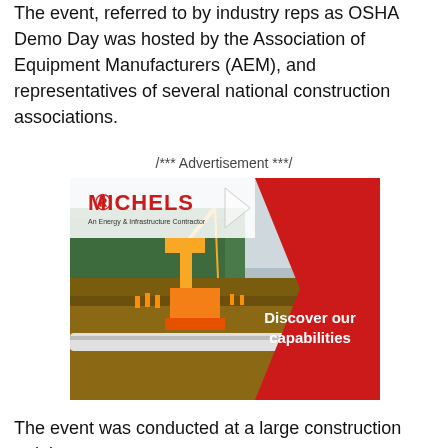The event, referred to by industry reps as OSHA Demo Day was hosted by the Association of Equipment Manufacturers (AEM), and representatives of several national construction associations.
/*** Advertisement ***/
[Figure (illustration): Michels Corporation advertisement showing construction workers and yellow crane machinery laying a large white pipeline through a forested area. Red chevron shape on right side with text 'Discover our capabilities'. Michels logo in upper left with tagline 'An Energy & Infrastructure Contractor'.]
The event was conducted at a large construction training